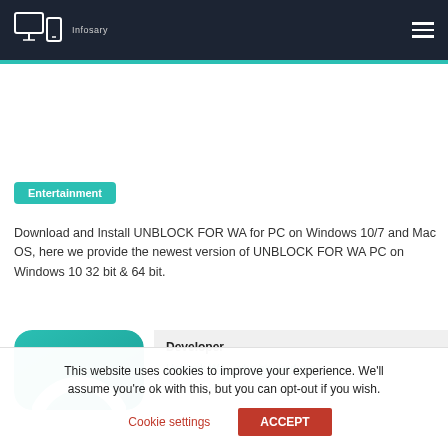Infosary — navigation header with logo and hamburger menu
Entertainment
Download and Install UNBLOCK FOR WA for PC on Windows 10/7 and Mac OS, here we provide the newest version of UNBLOCK FOR WA PC on Windows 10 32 bit & 64 bit.
[Figure (illustration): App icon for UNBLOCK FOR WA — teal/green rounded rectangle with white arc/horseshoe shape]
| Developer |  |
| --- | --- |
| Unblock WA - who blocked me |  |
This website uses cookies to improve your experience. We'll assume you're ok with this, but you can opt-out if you wish.
Cookie settings   ACCEPT